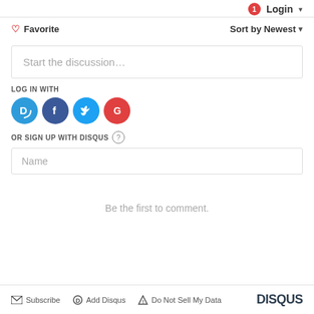Login
Favorite | Sort by Newest
Start the discussion…
LOG IN WITH
[Figure (illustration): Social login icons: Disqus (blue circle with D), Facebook (dark blue circle with f), Twitter (light blue circle with bird), Google (red circle with G)]
OR SIGN UP WITH DISQUS ?
Name
Be the first to comment.
Subscribe | Add Disqus | Do Not Sell My Data | DISQUS